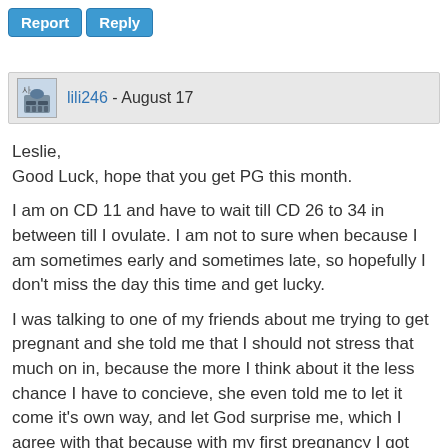Report  Reply
lili246 - August 17
Leslie,
Good Luck, hope that you get PG this month.

I am on CD 11 and have to wait till CD 26 to 34 in between till I ovulate. I am not to sure when because I am sometimes early and sometimes late, so hopefully I don't miss the day this time and get lucky.

I was talking to one of my friends about me trying to get pregnant and she told me that I should not stress that much on in, because the more I think about it the less chance I have to concieve, she even told me to let it come it's own way, and let God surprise me, which I agree with that because with my first pregnancy I got pregnant and didn't